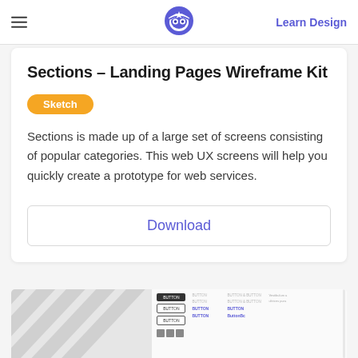Learn Design
Sections – Landing Pages Wireframe Kit
Sketch
Sections is made up of a large set of screens consisting of popular categories. This web UX screens will help you quickly create a prototype for web services.
Download
[Figure (screenshot): Preview of wireframe UI components including buttons and interface elements]